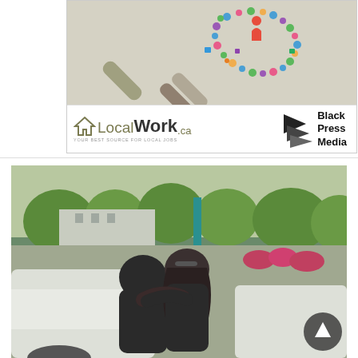[Figure (illustration): LocalWork.ca advertisement with a magnifying glass graphic made of colorful social media icons on a beige background. Below: LocalWork.ca logo (house icon, 'Local' in olive, 'Work' in dark bold, '.ca' in olive) with tagline 'YOUR BEST SOURCE FOR LOCAL JOBS' and Black Press Media logo.]
[Figure (photo): Outdoor photograph of two people embracing/hugging next to a white car, both wearing dark clothing. One person has long dark hair with sunglasses on head. Background shows green trees, a teal pole, and greenery. A circular dark scroll-to-top button is visible in the lower right corner.]